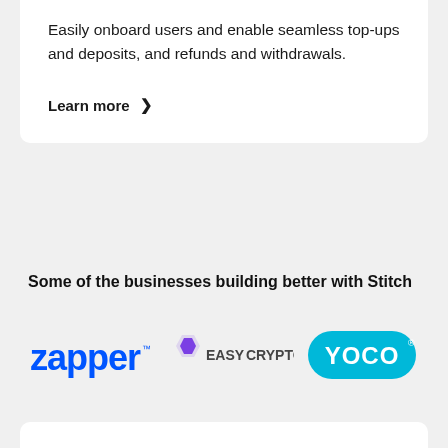Easily onboard users and enable seamless top-ups and deposits, and refunds and withdrawals.
Learn more >
Some of the businesses building better with Stitch
[Figure (logo): Zapper logo in bold blue text]
[Figure (logo): EasyCrypto logo with purple hexagon icon and text]
[Figure (logo): Yoco logo in white text on cyan/teal rounded pill badge]